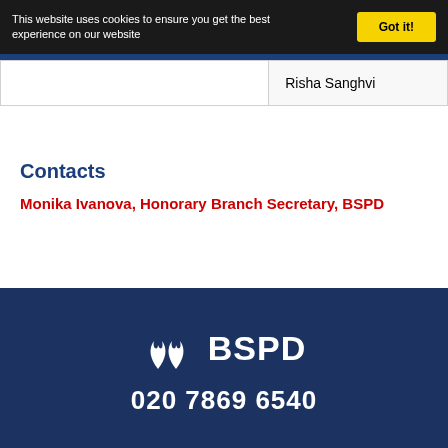This website uses cookies to ensure you get the best experience on our website
|  |  |
| --- | --- |
|  | Risha Sanghvi |
Contacts
Monika Ivanova, Honorary Branch Secretary, BSPD
BSPD 020 7869 6540